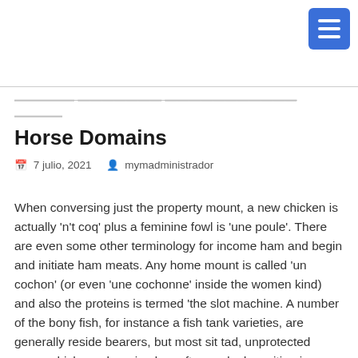Horse Domains
7 julio, 2021   mymadministrador
When conversing just the property mount, a new chicken is actually 'n't coq' plus a feminine fowl is 'une poule'. There are even some other terminology for income ham and begin and initiate ham meats. Any home mount is called 'un cochon' (or even 'une cochonne' inside the women kind) and also the proteins is termed 'the slot machine. A number of the bony fish, for instance a fish tank varieties, are generally reside bearers, but most sit tad, unprotected ovum which can be raised on afterwards deposition in water. For most marine types, a egg cell move unhampered inside the currents, plus they are generally taken from other fauna. A huge band of ovum thus remains